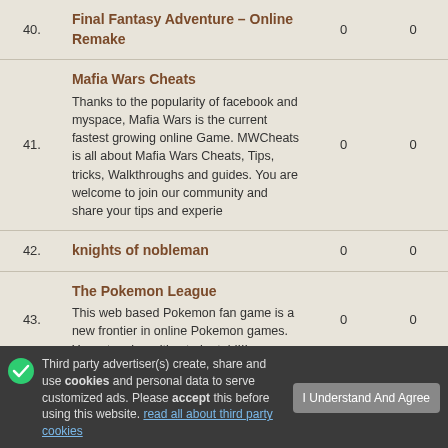| # | Site | Votes | In |
| --- | --- | --- | --- |
| 40. | Final Fantasy Adventure – Online Remake | 0 | 0 |
| 41. | Mafia Wars Cheats
Thanks to the popularity of facebook and myspace, Mafia Wars is the current fastest growing online Game. MWCheats is all about Mafia Wars Cheats, Tips, tricks, Walkthroughs and guides. You are welcome to join our community and share your tips and experie | 0 | 0 |
| 42. | knights of nobleman | 0 | 0 |
| 43. | The Pokemon League
This web based Pokemon fan game is a new frontier in online Pokemon games. Your story is waiting to be told!!! | 0 | 0 |
Third party advertiser(s) create, share and use cookies and personal data to serve customized ads. Please accept this before using this website. read all about third party cookies